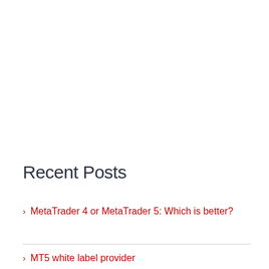Recent Posts
MetaTrader 4 or MetaTrader 5: Which is better?
MT5 white label provider